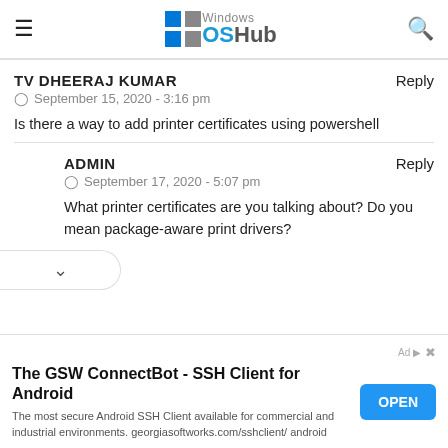Windows OSHub
TV DHEERAJ KUMAR    Reply
⊙ September 15, 2020 - 3:16 pm
Is there a way to add printer certificates using powershell
ADMIN    Reply
⊙ September 17, 2020 - 5:07 pm
What printer certificates are you talking about? Do you mean package-aware print drivers?
[Figure (screenshot): Advertisement banner: The GSW ConnectBot - SSH Client for Android with OPEN button]